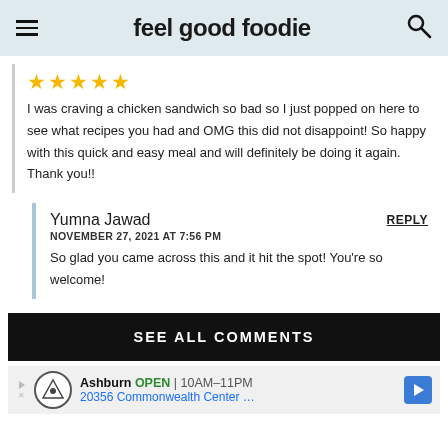feel good foodie
I was craving a chicken sandwich so bad so I just popped on here to see what recipes you had and OMG this did not disappoint! So happy with this quick and easy meal and will definitely be doing it again. Thank you!!
Yumna Jawad
NOVEMBER 27, 2021 AT 7:56 PM
So glad you came across this and it hit the spot! You're so welcome!
SEE ALL COMMENTS
Ashburn OPEN 10AM–11PM 20356 Commonwealth Center …